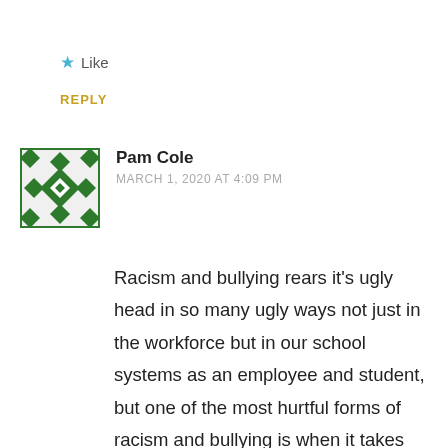★ Like
REPLY
[Figure (illustration): Green decorative avatar icon with geometric diamond/cross pattern in green and white]
Pam Cole
MARCH 1, 2020 AT 4:09 PM
Racism and bullying rears it's ugly head in so many ugly ways not just in the workforce but in our school systems as an employee and student, but one of the most hurtful forms of racism and bullying is when it takes place in your own family. Since 10 years old I was not only bullied at